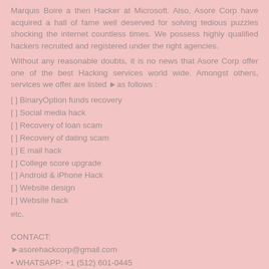Marquis Boire a then Hacker at Microsoft. Also, Asore Corp have acquired a hall of fame well deserved for solving tedious puzzles shocking the internet countless times. We possess highly qualified hackers recruited and registered under the right agencies.
Without any reasonable doubts, it is no news that Asore Corp offer one of the best Hacking services world wide. Amongst others, services we offer are listed ►s follows :
[ ] BinaryOption funds recovery
[ ] Social media hack
[ ] Recovery of loan scam
[ ] Recovery of dating scam
[ ] E mail hack
[ ] College score upgrade
[ ] Android & iPhone Hack
[ ] Website design
[ ] Website hack
etc.
CONTACT:
►asorehackcorp@gmail.com
▪WHATSAPP: +1 (512) 601-0445